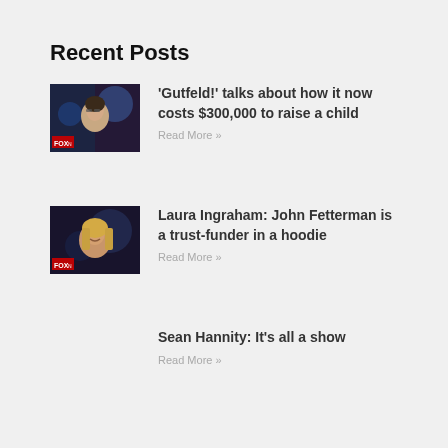Recent Posts
'Gutfeld!' talks about how it now costs $300,000 to raise a child
Read More »
Laura Ingraham: John Fetterman is a trust-funder in a hoodie
Read More »
Sean Hannity: It's all a show
Read More »